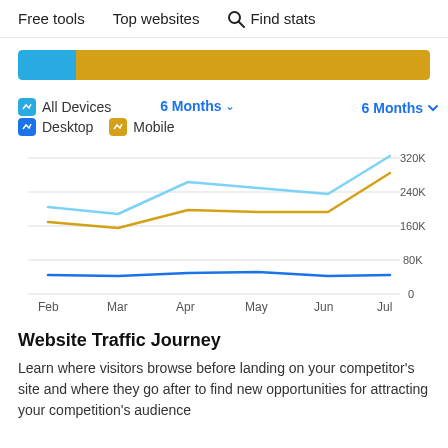Free tools   Top websites   🔍 Find stats
[Figure (bar-chart): Horizontal bar: blue segment (~15%) and gold segment (~85%)]
[Figure (line-chart): ]
Website Traffic Journey
Learn where visitors browse before landing on your competitor's site and where they go after to find new opportunities for attracting your competition's audience